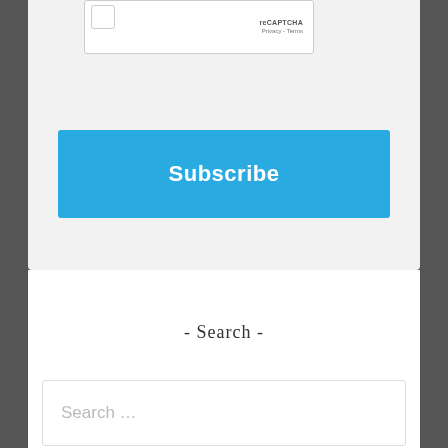[Figure (screenshot): reCAPTCHA widget with checkbox, reCAPTCHA logo, Privacy and Terms links]
Subscribe
- Search -
Search …
- Left Search -
Search …